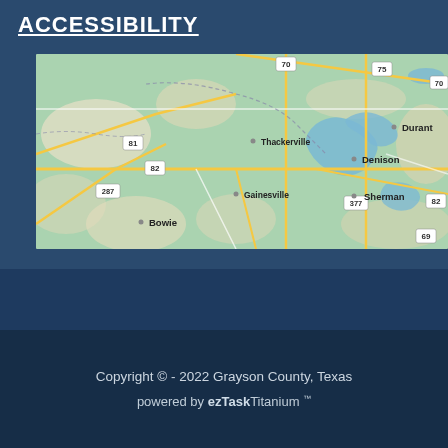ACCESSIBILITY
[Figure (map): Google Maps view showing Grayson County area in Texas/Oklahoma border region, with cities including Durant, Denison, Sherman, Gainesville, Thackerville, and Bowie, with highway routes 70, 75, 82, 81, 287, 377, 69 labeled.]
Copyright © - 2022 Grayson County, Texas
powered by ezTaskTitanium ™